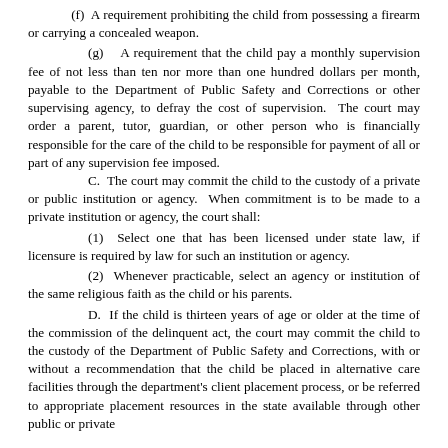(f)  A requirement prohibiting the child from possessing a firearm or carrying a concealed weapon.
(g)  A requirement that the child pay a monthly supervision fee of not less than ten nor more than one hundred dollars per month, payable to the Department of Public Safety and Corrections or other supervising agency, to defray the cost of supervision.  The court may order a parent, tutor, guardian, or other person who is financially responsible for the care of the child to be responsible for payment of all or part of any supervision fee imposed.
C.  The court may commit the child to the custody of a private or public institution or agency.  When commitment is to be made to a private institution or agency, the court shall:
(1)  Select one that has been licensed under state law, if licensure is required by law for such an institution or agency.
(2)  Whenever practicable, select an agency or institution of the same religious faith as the child or his parents.
D.  If the child is thirteen years of age or older at the time of the commission of the delinquent act, the court may commit the child to the custody of the Department of Public Safety and Corrections, with or without a recommendation that the child be placed in alternative care facilities through the department's client placement process, or be referred to appropriate placement resources in the state available through other public or private